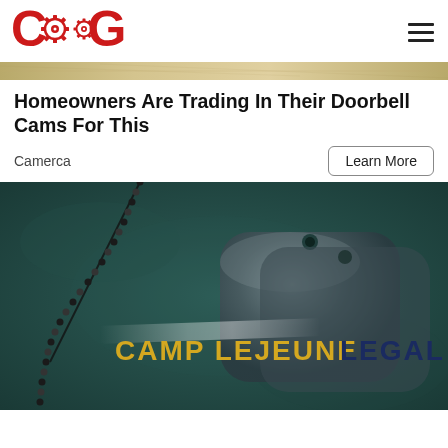[Figure (logo): COG gear logo in red/dark red]
[Figure (photo): Top cropped image strip, appears to be a golden/parchment textured surface]
Homeowners Are Trading In Their Doorbell Cams For This
Camerca
Learn More
[Figure (photo): Camp Lejeune Legal advertisement image showing military dog tags on a dark teal textured surface with text CAMP LEJEUNE LEGAL]